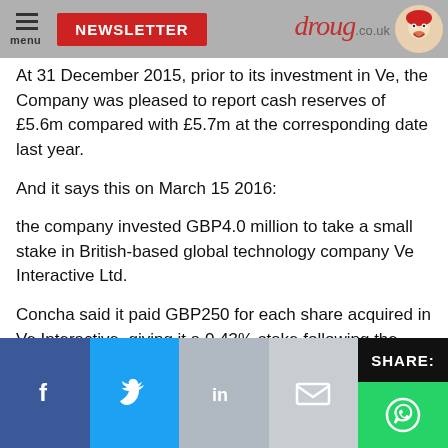droug.co.uk — NEWSLETTER
At 31 December 2015, prior to its investment in Ve, the Company was pleased to report cash reserves of £5.6m compared with £5.7m at the corresponding date last year.
And it says this on March 15 2016:
the company invested GBP4.0 million to take a small stake in British-based global technology company Ve Interactive Ltd.
Concha said it paid GBP250 for each share acquired in Ve Interactive, giving it a 0.43% stake following the deal.
Thus valuing VE at over £1 billion.
And then I found this graph of the share price of Concha:
SHARE: Facebook, Twitter, LinkedIn, Email, WhatsApp